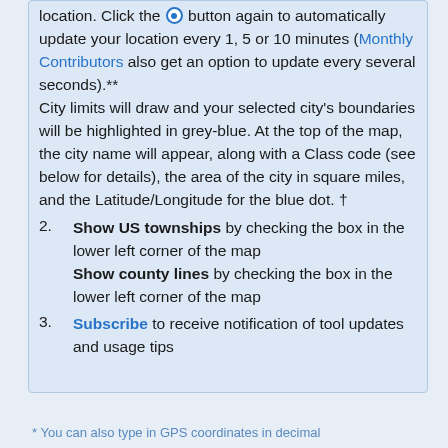location. Click the ● button again to automatically update your location every 1, 5 or 10 minutes (Monthly Contributors also get an option to update every several seconds).** City limits will draw and your selected city's boundaries will be highlighted in grey-blue. At the top of the map, the city name will appear, along with a Class code (see below for details), the area of the city in square miles, and the Latitude/Longitude for the blue dot. †
2. Show US townships by checking the box in the lower left corner of the map Show county lines by checking the box in the lower left corner of the map
3. Subscribe to receive notification of tool updates and usage tips
* You can also type in GPS coordinates in decimal